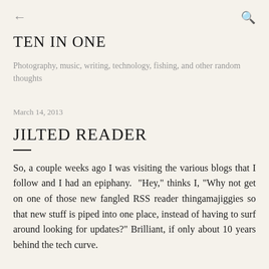← ⌕
TEN IN ONE
Photography, music, writing, technology, fishing, and other random thoughts
March 14, 2013
JILTED READER
So, a couple weeks ago I was visiting the various blogs that I follow and I had an epiphany.  "Hey," thinks I, "Why not get on one of those new fangled RSS reader thingamajiggies so that new stuff is piped into one place, instead of having to surf around looking for updates?" Brilliant, if only about 10 years behind the tech curve.